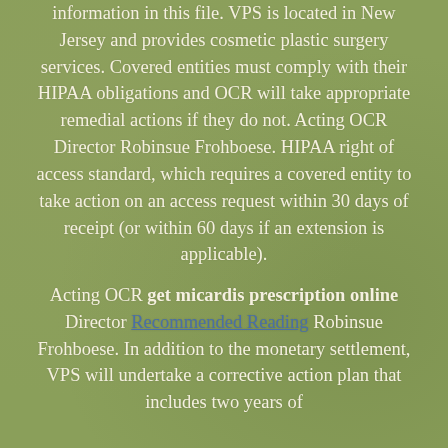information in this file. VPS is located in New Jersey and provides cosmetic plastic surgery services. Covered entities must comply with their HIPAA obligations and OCR will take appropriate remedial actions if they do not. Acting OCR Director Robinsue Frohboese. HIPAA right of access standard, which requires a covered entity to take action on an access request within 30 days of receipt (or within 60 days if an extension is applicable).
Acting OCR get micardis prescription online Director Recommended Reading Robinsue Frohboese. In addition to the monetary settlement, VPS will undertake a corrective action plan that includes two years of